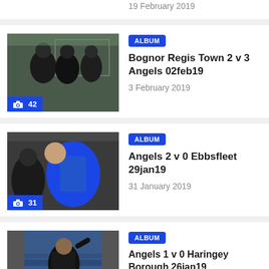[Figure (photo): Partial sports photo with blue camera badge showing count 45, date 19 February 2019]
19 February 2019
[Figure (photo): Group of people in dark coats near a football goal net, badge showing 42 photos]
ALBUM
Bognor Regis Town 2 v 3 Angels 02feb19
3 February 2019
[Figure (photo): Person in blue sports jacket, badge showing 31 photos]
ALBUM
Angels 2 v 0 Ebbsfleet 29jan19
31 January 2019
[Figure (photo): Person in black jacket, partial image cut off at bottom, badge showing 36 photos]
ALBUM
Angels 1 v 0 Haringey Borough 26jan19